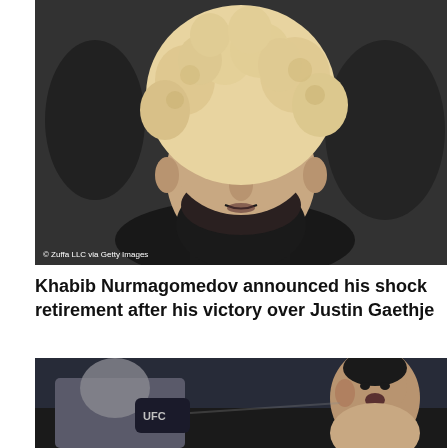[Figure (photo): Close-up portrait of Khabib Nurmagomedov with bleached curly hair and black beard, looking upward with emotional expression, wearing black clothing, crowd blurred in background. Photo credit: © Zuffa LLC via Getty Images]
Khabib Nurmagomedov announced his shock retirement after his victory over Justin Gaethje
[Figure (photo): Action shot of a UFC fight showing two fighters exchanging punches, one with short dark hair on the right side, UFC branded gloves visible, arena crowd blurred in background]